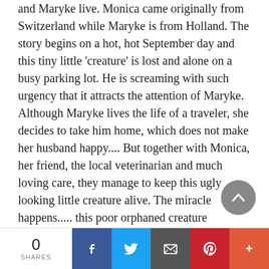and Maryke live. Monica came originally from Switzerland while Maryke is from Holland. The story begins on a hot, hot September day and this tiny little 'creature' is lost and alone on a busy parking lot. He is screaming with such urgency that it attracts the attention of Maryke. Although Maryke lives the life of a traveler, she decides to take him home, which does not make her husband happy.... But together with Monica, her friend, the local veterinarian and much loving care, they manage to keep this ugly looking little creature alive. The miracle happens..... this poor orphaned creature develops into a beautiful fluffy cat! And..... everybody loves him....
0 SHARES | Facebook | Twitter | Email | Pinterest | More